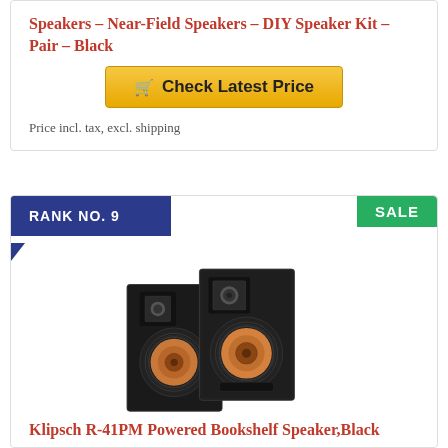Speakers – Near-Field Speakers – DIY Speaker Kit – Pair – Black
Check Latest Price
Price incl. tax, excl. shipping
RANK NO. 9
SALE
[Figure (photo): Two Klipsch R-41PM powered bookshelf speakers in black, shown from the front at a slight angle, featuring copper woofers and horn-loaded tweeters.]
Klipsch R-41PM Powered Bookshelf Speaker,Black